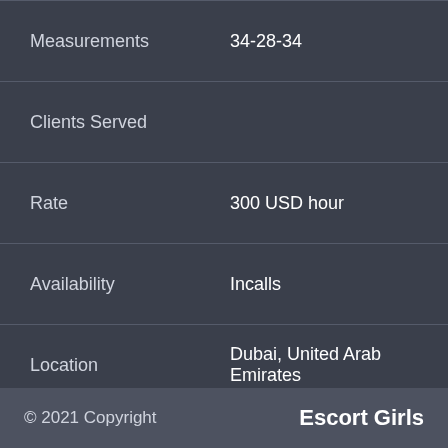| Field | Value |
| --- | --- |
| Measurements | 34-28-34 |
| Clients Served |  |
| Rate | 300 USD hour |
| Availability | Incalls |
| Location | Dubai, United Arab Emirates |
| Phone | +971557108383 |
| Email | click to send email |
100%?? Verified?? Hot Escorts in Dubai for Pleasure in
© 2021 Copyright    Escort Girls